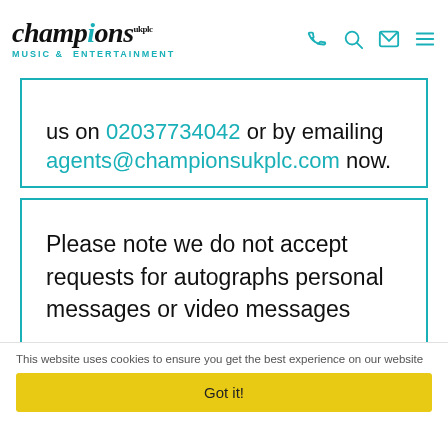[Figure (logo): Champions Music & Entertainment logo with teal accent on letter i]
us on 02037734042 or by emailing agents@championsukplc.com now.
Please note we do not accept requests for autographs personal messages or video messages
This website uses cookies to ensure you get the best experience on our website
Got it!